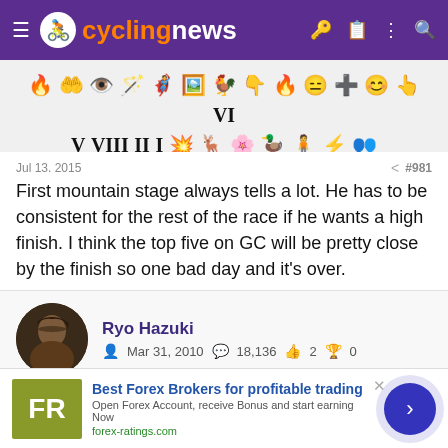cyclingnews
[Figure (other): Row of emoji/badge icons]
Jul 13, 2015    #981
First mountain stage always tells a lot. He has to be consistent for the rest of the race if he wants a high finish. I think the top five on GC will be pretty close by the finish so one bad day and it's over.
Ryo Hazuki
Mar 31, 2010   18,136   2   0
Jul 13, 2015    #982
[Figure (other): Advertisement: Best Forex Brokers for profitable trading - forex-ratings.com]